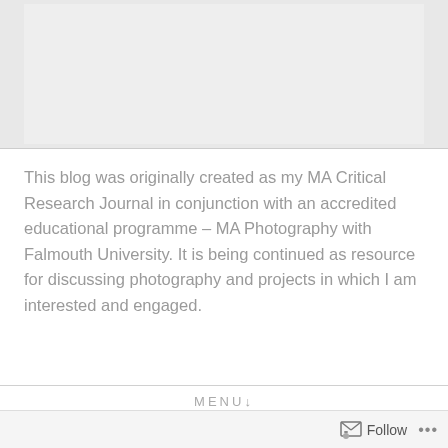[Figure (photo): Gray/light colored header image area at top of blog page]
This blog was originally created as my MA Critical Research Journal in conjunction with an accredited educational programme – MA Photography with Falmouth University. It is being continued as resource for discussing photography and projects in which I am interested and engaged.
MENU↓
ROBERT ADAMS – WHY PEOPLE
Follow ...